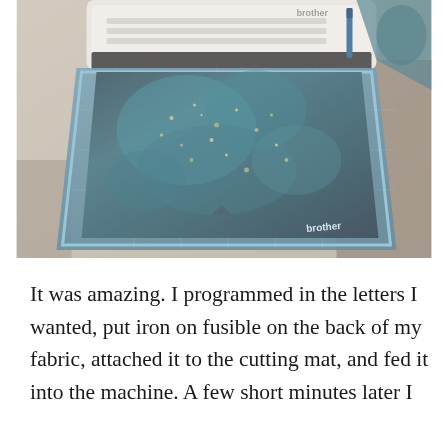[Figure (photo): A Brother cutting machine (die cutter/electronic cutter) on a wooden desk surface, with a cutting mat loaded into it. The mat holds a piece of fabric with a dark, teal/blue and black marbled or galaxy-like pattern with glittery/speckled texture. The Brother logo is visible on both the machine and mat. Some additional fabric is visible in the top right corner.]
It was amazing. I programmed in the letters I wanted, put iron on fusible on the back of my fabric, attached it to the cutting mat, and fed it into the machine. A few short minutes later I